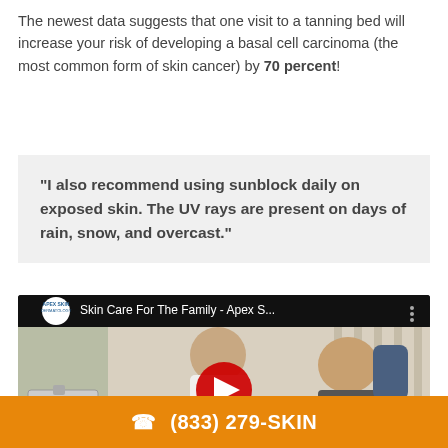The newest data suggests that one visit to a tanning bed will increase your risk of developing a basal cell carcinoma (the most common form of skin cancer) by 70 percent!
“I also recommend using sunblock daily on exposed skin. The UV rays are present on days of rain, snow, and overcast.”
[Figure (screenshot): YouTube video thumbnail showing a dermatology consultation scene. A female doctor in a white coat examines an elderly male patient's skin, with another person partially visible. Video title: 'Skin Care For The Family - Apex S...' with Apex Skin logo.]
☎ (833) 279-SKIN